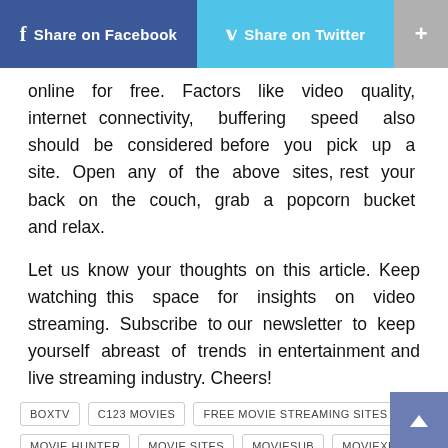Share on Facebook   Share on Twitter   +
online for free. Factors like video quality, internet connectivity, buffering speed also should be considered before you pick up a site. Open any of the above sites, rest your back on the couch, grab a popcorn bucket and relax.
Let us know your thoughts on this article. Keep watching this space for insights on video streaming. Subscribe to our newsletter to keep yourself abreast of trends in entertainment and live streaming industry. Cheers!
BOXTV
C123 MOVIES
FREE MOVIE STREAMING SITES
MOVIE
MOVIE HUNTER
MOVIE SITES
MOVIESUB
MOVIEXK
VIEWSTER
VIOOZ MOVIES
WATCH MOVIE FULL